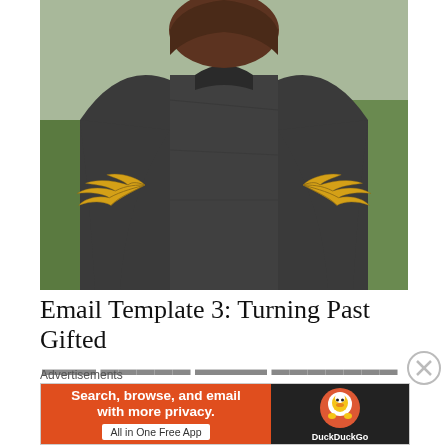[Figure (photo): Woman seen from behind wearing a dark grey/black jacket with gold metallic wing design on the back, standing on a road with greenery on the sides]
Email Template 3: Turning Past Gifted
Advertisements
[Figure (screenshot): DuckDuckGo advertisement banner: orange left side with text 'Search, browse, and email with more privacy. All in One Free App', dark right side with DuckDuckGo logo]